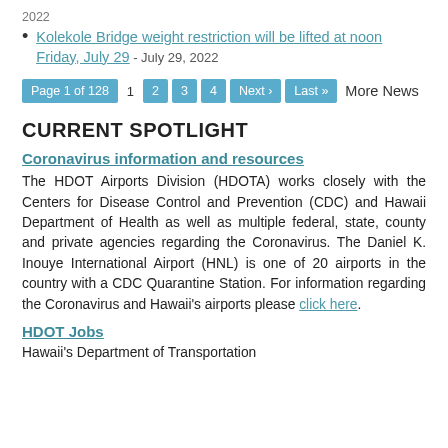2022
Kolekole Bridge weight restriction will be lifted at noon Friday, July 29 - July 29, 2022
Page 1 of 128  1  2  3  4  Next›  Last»  More News
CURRENT SPOTLIGHT
Coronavirus information and resources
The HDOT Airports Division (HDOTA) works closely with the Centers for Disease Control and Prevention (CDC) and Hawaii Department of Health as well as multiple federal, state, county and private agencies regarding the Coronavirus. The Daniel K. Inouye International Airport (HNL) is one of 20 airports in the country with a CDC Quarantine Station. For information regarding the Coronavirus and Hawaii's airports please click here.
HDOT Jobs
Hawaii's Department of Transportation